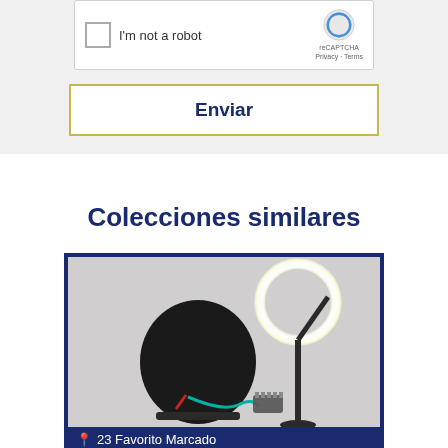[Figure (screenshot): reCAPTCHA widget with checkbox labeled 'I'm not a robot', reCAPTCHA logo, Privacy and Terms links]
Enviar
Colecciones similares
[Figure (photo): Photo of a barber chair with ring light on a stand and hairdressing tools, with a dark blue border frame]
23 Favorito Marcado